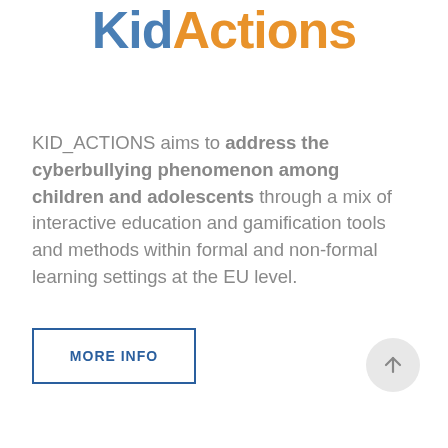[Figure (logo): KidActions logo — 'Kid' in blue bold text and 'Actions' in orange bold text, large display font]
KID_ACTIONS aims to address the cyberbullying phenomenon among children and adolescents through a mix of interactive education and gamification tools and methods within formal and non-formal learning settings at the EU level.
[Figure (other): MORE INFO button — rectangular button with blue border and blue bold text 'MORE INFO']
[Figure (other): Scroll-to-top circular button with upward arrow icon]